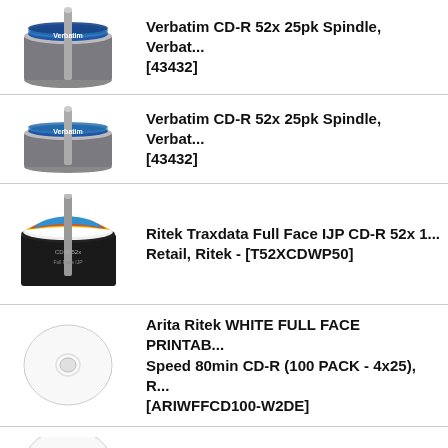Verbatim CD-R 52x 25pk Spindle, Verbat... [43432]
Verbatim CD-R 52x 25pk Spindle, Verbat... [43432]
Ritek Traxdata Full Face IJP CD-R 52x 1... Retail, Ritek - [T52XCDWP50]
Arita Ritek WHITE FULL FACE PRINTAB... Speed 80min CD-R (100 PACK - 4x25), R... [ARIWFFCD100-W2DE]
Water Resistant Matt White Inkjet CD-R...